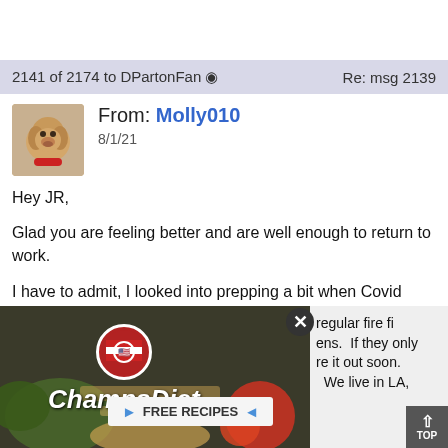2141 of 2174 to DPartonFan  Re: msg 2139
[Figure (photo): Avatar photo of a golden/yellow dog (labrador) with a red collar]
From: Molly010
8/1/21
Hey JR,
Glad you are feeling better and are well enough to return to work.
I have to admit, I looked into prepping a bit when Covid started too.  Some of those people are a bit over the top, but there is some sense of security knowing you have what you need if anything does happen.  Sounds like that woman didn't look into these enough if you aren't able to get rid of certain bacteria with regular fire fi... ens.  If they only re it out soon.  We live in LA...
[Figure (advertisement): ChampsDiet advertisement with food background, logo with American flag circle, script text ChampsDiet, FREE RECIPES button, and partial text on right side]